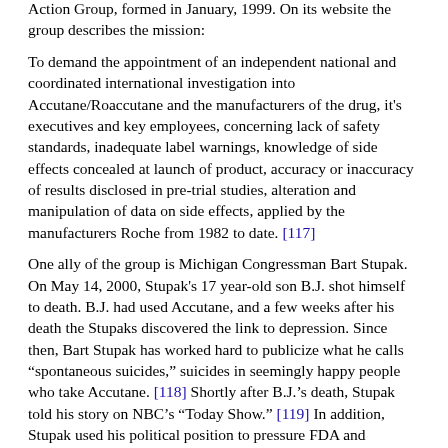Action Group, formed in January, 1999. On its website the group describes the mission:
To demand the appointment of an independent national and coordinated international investigation into Accutane/Roaccutane and the manufacturers of the drug, it's executives and key employees, concerning lack of safety standards, inadequate label warnings, knowledge of side effects concealed at launch of product, accuracy or inaccuracy of results disclosed in pre-trial studies, alteration and manipulation of data on side effects, applied by the manufacturers Roche from 1982 to date. [117]
One ally of the group is Michigan Congressman Bart Stupak. On May 14, 2000, Stupak's 17 year-old son B.J. shot himself to death. B.J. had used Accutane, and a few weeks after his death the Stupaks discovered the link to depression. Since then, Bart Stupak has worked hard to publicize what he calls "spontaneous suicides," suicides in seemingly happy people who take Accutane. [118] Shortly after B.J.'s death, Stupak told his story on NBC's "Today Show." [119] In addition, Stupak used his political position to pressure FDA and Hoffmann-La Roche to increase regulation of the Drug. It was Stupak who pushed the company to create an informed consent form